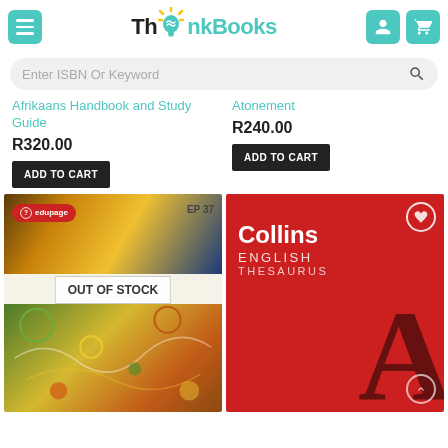ThinkBooks
Enter ISBN Or Keyword
Afrikaans Handbook and Study Guide
R320.00
ADD TO CART
Atonement
R240.00
ADD TO CART
[Figure (photo): Book cover: Edupage EP 37 - Ballade vir 'n Enkelkind, showing OUT OF STOCK overlay]
[Figure (photo): Book cover: Collins English Thesaurus, red cover with large letter A]